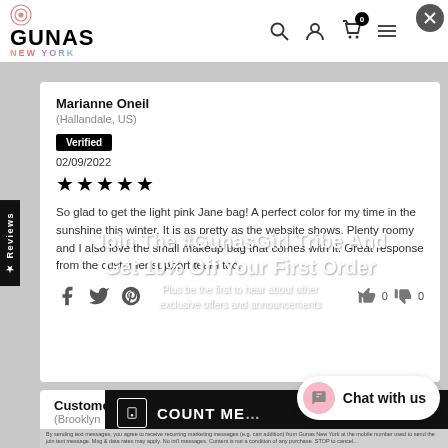GUNAS NEW YORK
Marianne Oneil
(Hallandale, US)
Verified
02/09/2022
★★★★★
So glad to get the light pink Jane bag! A perfect color for my time in the sunshine this winter. It is as pretty as the website shows. Plenty roomy and I also love the small makeup bag that comes with it. Great response from the customer support team too.
Join The #GunasGirl Tribe And
Get 10% Off Your First Order
Plus be the first to hear about other exclusive offers and announcements
Customer
(Brooklyn
Verified
02/08/2022
COUNT ME IN
Chat with us